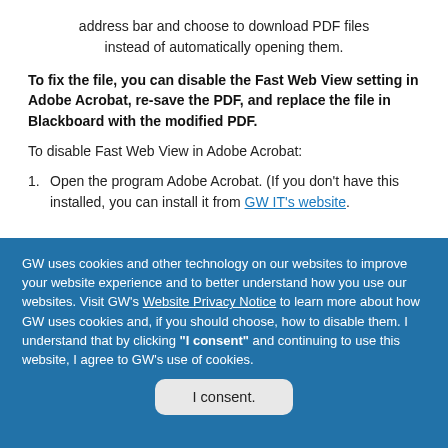address bar and choose to download PDF files instead of automatically opening them.
To fix the file, you can disable the Fast Web View setting in Adobe Acrobat, re-save the PDF, and replace the file in Blackboard with the modified PDF.
To disable Fast Web View in Adobe Acrobat:
Open the program Adobe Acrobat. (If you don't have this installed, you can install it from GW IT's website.
GW uses cookies and other technology on our websites to improve your website experience and to better understand how you use our websites. Visit GW's Website Privacy Notice to learn more about how GW uses cookies and, if you should choose, how to disable them. I understand that by clicking "I consent" and continuing to use this website, I agree to GW's use of cookies.